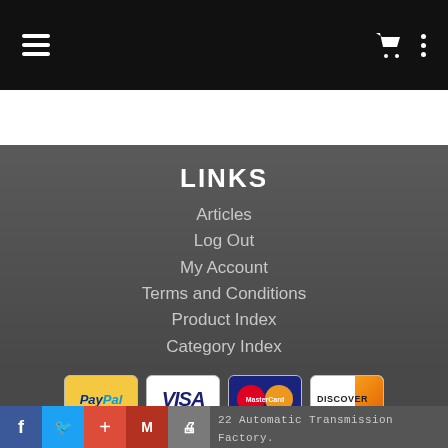Navigation header with hamburger menu, cart icon, and options icon
LINKS
Articles
Log Out
My Account
Terms and Conditions
Product Index
Category Index
[Figure (logo): Payment method logos: PayPal, Visa, MasterCard, Discover]
22 Automatic Transmission Factory.